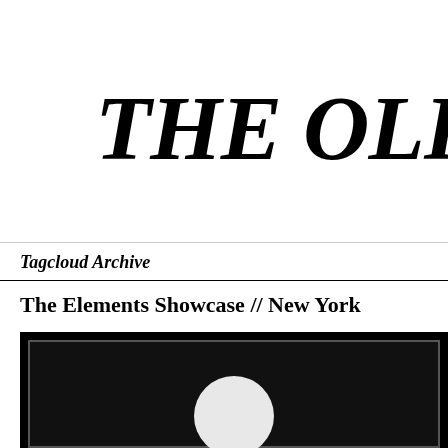THE OLFAC
Tagcloud Archive
The Elements Showcase // New York
[Figure (photo): Dark/black framed image with inner border, showing a partial white circular shape (moon or sphere) at the bottom center against a black background]